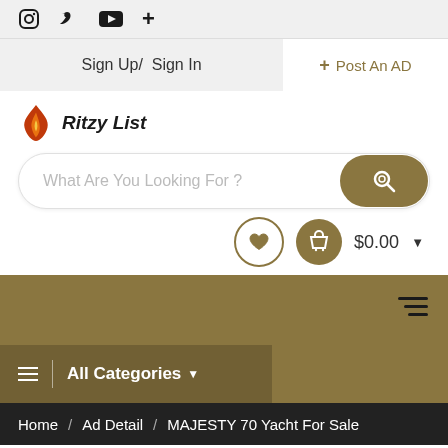Social icons: Instagram, Twitter, YouTube, Plus
Sign Up/ Sign In
+ Post An AD
[Figure (logo): Ritzy List logo with flame icon and italic text 'Ritzy List']
What Are You Looking For ?
$0.00
[Figure (infographic): Navigation band with hamburger menu icon, All Categories button with dropdown arrow]
≡  |  All Categories ▾
Home / Ad Detail / MAJESTY 70 Yacht For Sale